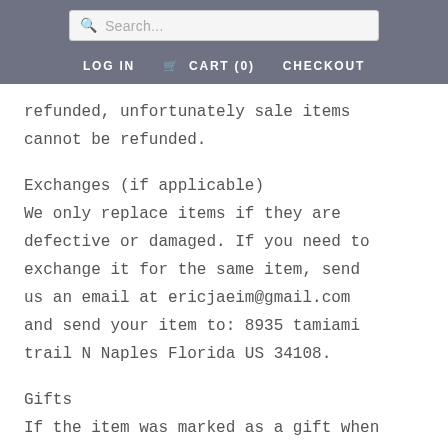Search... | LOG IN  CART (0)  CHECKOUT
refunded, unfortunately sale items cannot be refunded.
Exchanges (if applicable)
We only replace items if they are defective or damaged. If you need to exchange it for the same item, send us an email at ericjaeim@gmail.com and send your item to: 8935 tamiami trail N Naples Florida US 34108.
Gifts
If the item was marked as a gift when purchased and shipped directly to